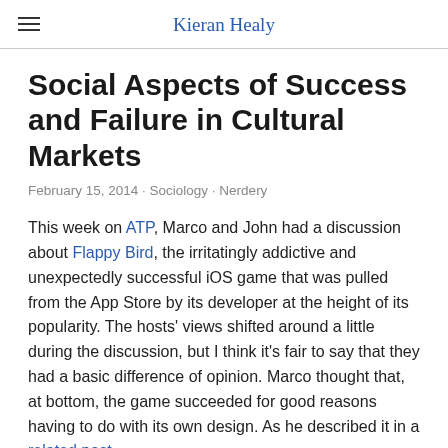Kieran Healy
Social Aspects of Success and Failure in Cultural Markets
February 15, 2014 · Sociology · Nerdery
This week on ATP, Marco and John had a discussion about Flappy Bird, the irritatingly addictive and unexpectedly successful iOS game that was pulled from the App Store by its developer at the height of its popularity. The hosts' views shifted around a little during the discussion, but I think it's fair to say that they had a basic difference of opinion. Marco thought that, at bottom, the game succeeded for good reasons having to do with its own design. As he described it in a related post,